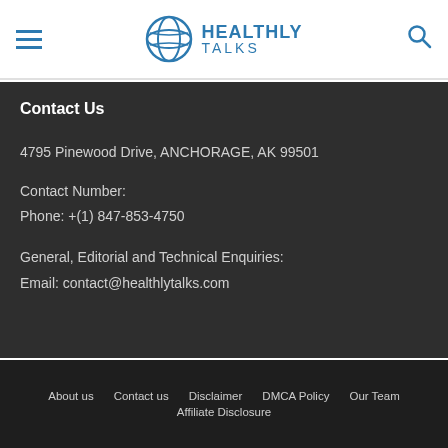HEALTHLY TALKS
Contact Us
4795 Pinewood Drive, ANCHORAGE, AK 99501
Contact Number:
Phone: +(1) 847-853-4750
General, Editorial and Technical Enquiries:
Email: contact@healthlytalks.com
About us  Contact us  Disclaimer  DMCA Policy  Our Team  Affiliate Disclosure